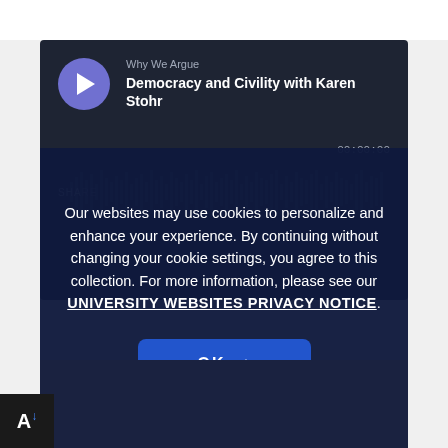[Figure (screenshot): Podcast player card with play button, showing 'Why We Argue' series and episode 'Democracy and Civility with Karen Stohr' on dark background]
Our websites may use cookies to personalize and enhance your experience. By continuing without changing your cookie settings, you agree to this collection. For more information, please see our UNIVERSITY WEBSITES PRIVACY NOTICE.
[Figure (other): OK button with checkmark for cookie consent acceptance]
[Figure (logo): Logo with letter A and down arrow]